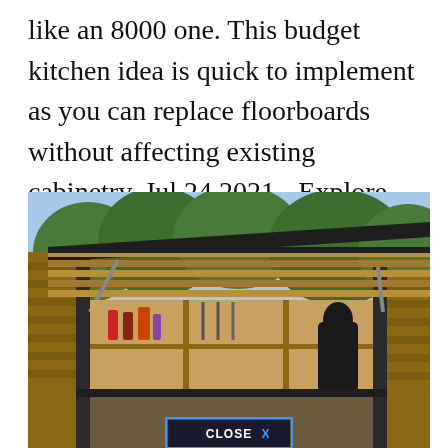like an 8000 one. This budget kitchen idea is quick to implement as you can replace floorboards without affecting existing cabinetry. Jul 24 2021 - Explore Misspmbxs board Kitchen on a budget on Pinterest.
[Figure (photo): Outdoor kitchen or bar structure with a dark metal frame, wood slat walls and ceiling, open shelving with bottles and tools, photographed outdoors with trees visible in background. A 'CLOSE X' button overlay appears at the bottom center of the image.]